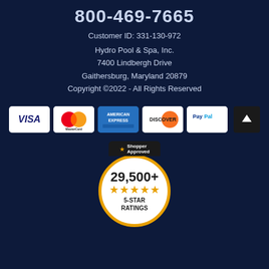800-469-7665
Customer ID: 331-130-972
Hydro Pool & Spa, Inc.
7400 Lindbergh Drive
Gaithersburg, Maryland 20879
Copyright ©2022 - All Rights Reserved
[Figure (infographic): Payment method logos: VISA, MasterCard, American Express, Discover, PayPal, and a scroll-to-top button]
[Figure (infographic): Shopper Approved badge showing 29,500+ 5-star ratings with gold circle and stars]